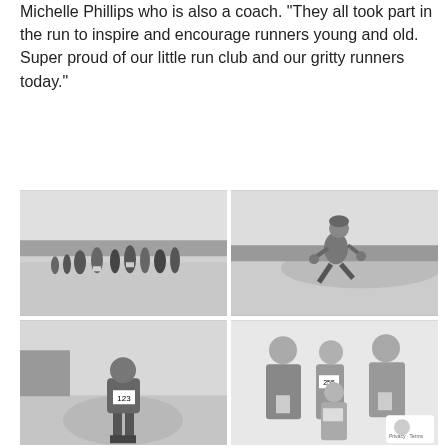Michelle Phillips who is also a coach. “They all took part in the run to inspire and encourage runners young and old. Super proud of our little run club and our gritty runners today.”
[Figure (photo): Group of people including children walking/running on a snowy road in winter gear]
[Figure (photo): Child running on snowy road in winter athletic gear, side profile]
[Figure (photo): Young child standing on icy/snowy trail wearing bib number 123]
[Figure (photo): Three adults and a child posing indoors holding medals/bibs, bib number 255 visible, reCAPTCHA watermark in corner]